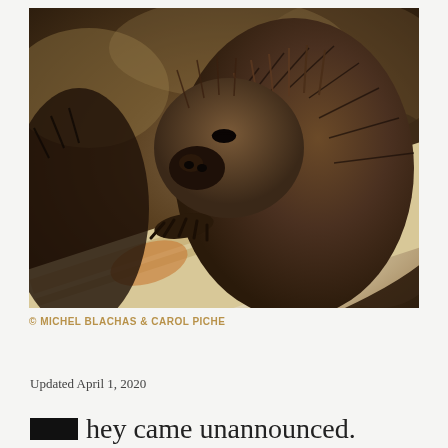[Figure (photo): Close-up photograph of a beaver chewing on a white birch log. The beaver has brown spiky wet fur, visible claws, and a dark nose. The background is blurred with warm autumn tones.]
© MICHEL BLACHAS & CAROL PICHE
Updated April 1, 2020
hey came unannounced. Almost